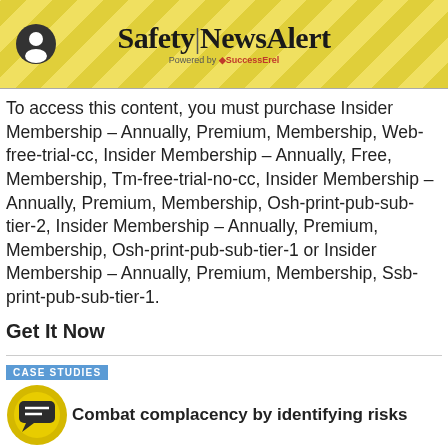Safety|NewsAlert — Powered by SuccessErel
To access this content, you must purchase Insider Membership – Annually, Premium, Membership, Web-free-trial-cc, Insider Membership – Annually, Free, Membership, Tm-free-trial-no-cc, Insider Membership – Annually, Premium, Membership, Osh-print-pub-sub-tier-2, Insider Membership – Annually, Premium, Membership, Osh-print-pub-sub-tier-1 or Insider Membership – Annually, Premium, Membership, Ssb-print-pub-sub-tier-1.
Get It Now
CASE STUDIES
Combat complacency by identifying risks
To access this content, you must purchase